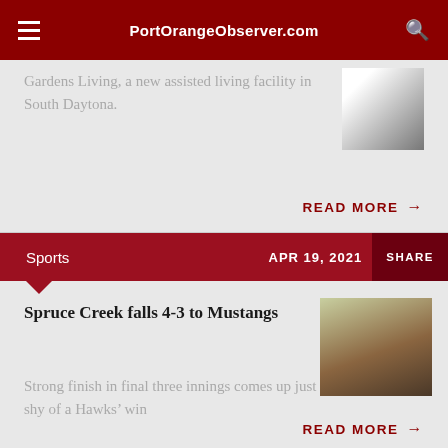PortOrangeObserver.com
Gardens Living, a new assisted living facility in South Daytona.
READ MORE →
Sports   APR 19, 2021   SHARE
Spruce Creek falls 4-3 to Mustangs
Strong finish in final three innings comes up just shy of a Hawks' win
READ MORE →